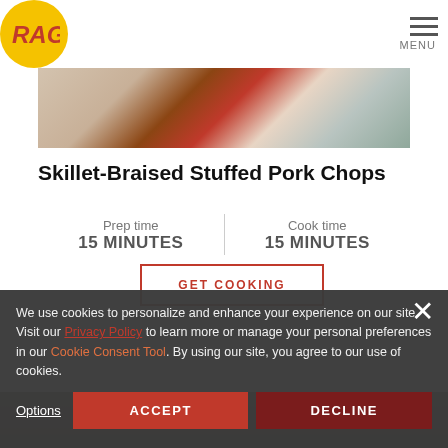RAGÚ — MENU
[Figure (photo): Food photo showing stuffed pork chops dish with red sauce on a plate]
Skillet-Braised Stuffed Pork Chops
Prep time 15 MINUTES | Cook time 15 MINUTES
We use cookies to personalize and enhance your experience on our site. Visit our Privacy Policy to learn more or manage your personal preferences in our Cookie Consent Tool. By using our site, you agree to our use of cookies.
Options | ACCEPT | DECLINE
[Figure (photo): Partial food photo visible at bottom of page]